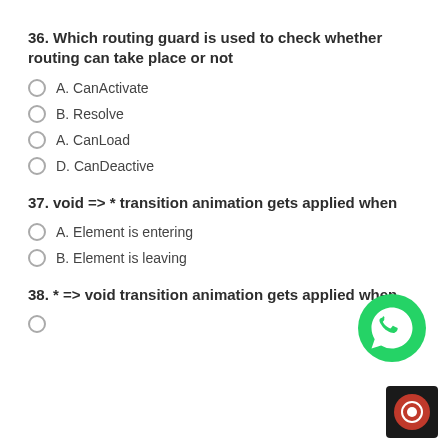36. Which routing guard is used to check whether routing can take place or not
A. CanActivate
B. Resolve
A. CanLoad
D. CanDeactive
37. void => * transition animation gets applied when
A. Element is entering
B. Element is leaving
38. * => void transition animation gets applied when
[Figure (logo): WhatsApp green phone icon]